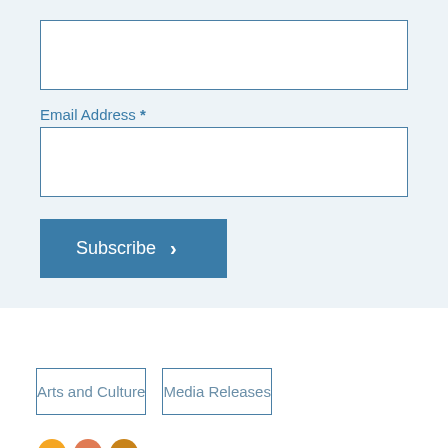[Figure (screenshot): Empty white input text box (first field, no label visible in crop)]
Email Address *
[Figure (screenshot): Empty white input text box for email address]
Subscribe ›
Arts and Culture
Media Releases
[Figure (illustration): Three partially visible circles in orange, coral, and amber colors at the bottom of the page]